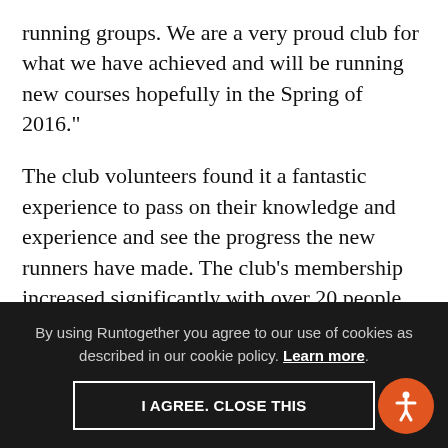running groups. We are a very proud club for what we have achieved and will be running new courses hopefully in the Spring of 2016."
The club volunteers found it a fantastic experience to pass on their knowledge and experience and see the progress the new runners have made. The club's membership increased significantly with over 20 people becoming full members from the beginner's programme. The club members feel great to see so many new faces that are happy and enthusiastic, most of the new runners are now entering races and they would never have
By using Runtogether you agree to our use of cookies as described in our cookie policy. Learn more.
I AGREE. CLOSE THIS